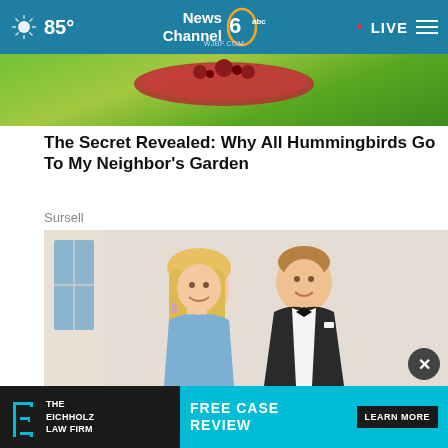85° News Channel 6 abc WJBF.COM • LIVE
[Figure (photo): Banner image showing a red pan with food on a green background, partially visible (top cropped)]
The Secret Revealed: Why All Hummingbirds Go To My Neighbor's Garden
Sursell
[Figure (photo): A smiling blonde woman in a blue sleeveless dress standing next to a man in a black tuxedo with bow tie, posed together indoors]
[Figure (logo): The Eichholz Law Firm advertisement banner: logo with stylized E, text THE EICHHOLZ LAW FIRM, FREE CASE REVIEW, LEARN MORE button on teal background]